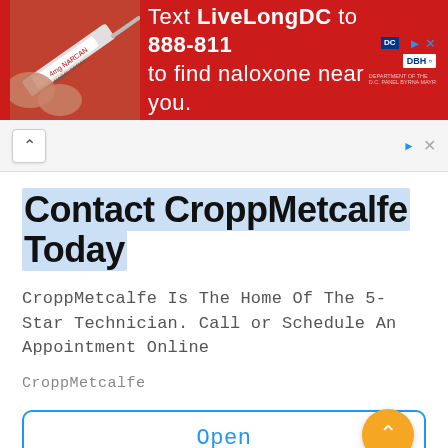[Figure (infographic): Red advertisement banner: syringe image on left, white text reading 'Text LiveLongDC to 888-811 to find naloxone near you.' with DC government logos on right]
[Figure (screenshot): Browser UI bar with chevron-up button on left and ad badge with close X on right]
Contact CroppMetcalfe Today
CroppMetcalfe Is The Home Of The 5-Star Technician. Call or Schedule An Appointment Online
CroppMetcalfe
Open